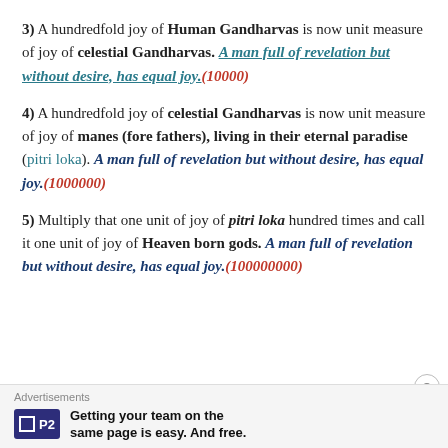3) A hundredfold joy of Human Gandharvas is now unit measure of joy of celestial Gandharvas. A man full of revelation but without desire, has equal joy.(10000)
4) A hundredfold joy of celestial Gandharvas is now unit measure of joy of manes (fore fathers), living in their eternal paradise (pitri loka). A man full of revelation but without desire, has equal joy.(1000000)
5) Multiply that one unit of joy of pitri loka hundred times and call it one unit of joy of Heaven born gods. A man full of revelation but without desire, has equal joy.(100000000)
Advertisements
P2 — Getting your team on the same page is easy. And free.